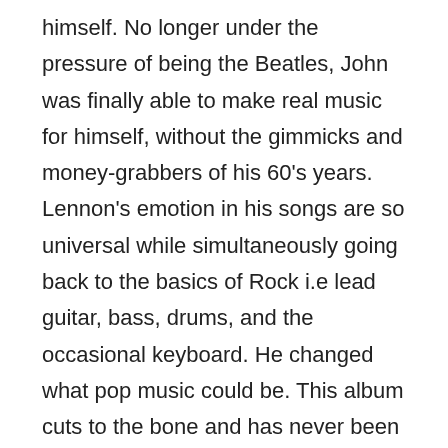himself. No longer under the pressure of being the Beatles, John was finally able to make real music for himself, without the gimmicks and money-grabbers of his 60's years. Lennon's emotion in his songs are so universal while simultaneously going back to the basics of Rock i.e lead guitar, bass, drums, and the occasional keyboard. He changed what pop music could be. This album cuts to the bone and has never been able to be imitated since, but we can easily see the effects of it in later genres. It was sad, envious, tender, and angry. John Lennon wallows in self-pity, but I think the subjects he sings about are all very relatable on some level. Are his feelings of